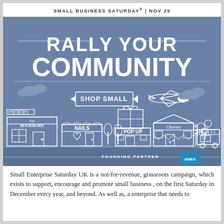SMALL BUSINESS SATURDAY® | NOV 25
[Figure (illustration): Small Business Saturday promotional illustration. Blue background with white text 'RALLY YOUR COMMUNITY' in large bold font. Below, a illustrated street scene showing small shops: The Bookborn, Nails, Pop Up, Cheeses, and a food truck. A banner reads 'Shop Small' with an airplane pulling it. Bottom right shows 'FOUNDING PARTNER' with American Express logo.]
Small Enterprise Saturday UK is a not-for-revenue, grassroots campaign, which exists to support, encourage and promote small business , on the first Saturday in December every year, and beyond. As well as, a enterprise that needs to